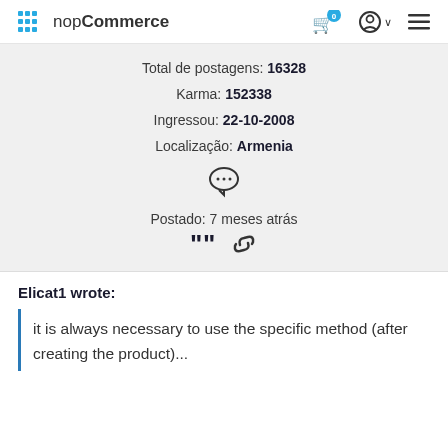nopCommerce
Total de postagens: 16328
Karma: 152338
Ingressou: 22-10-2008
Localização: Armenia
[Figure (illustration): Chat/comment speech bubble icon]
Postado: 7 meses atrás
[Figure (illustration): Quote icon and link/chain icon]
Elicat1 wrote:
it is always necessary to use the specific method (after creating the product)...